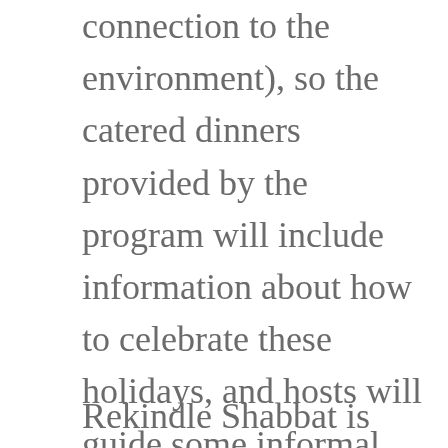connection to the environment), so the catered dinners provided by the program will include information about how to celebrate these holidays, and hosts will guide some informal learning as well.
Rekindle Shabbat is open to